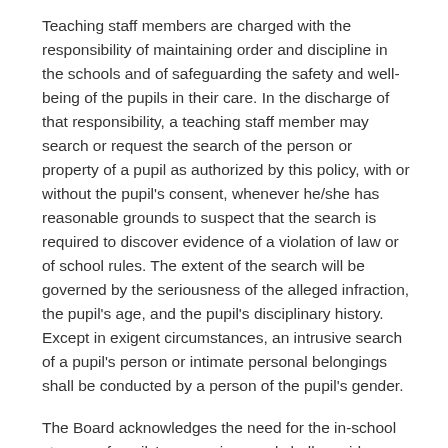Teaching staff members are charged with the responsibility of maintaining order and discipline in the schools and of safeguarding the safety and well-being of the pupils in their care. In the discharge of that responsibility, a teaching staff member may search or request the search of the person or property of a pupil as authorized by this policy, with or without the pupil's consent, whenever he/she has reasonable grounds to suspect that the search is required to discover evidence of a violation of law or of school rules. The extent of the search will be governed by the seriousness of the alleged infraction, the pupil's age, and the pupil's disciplinary history. Except in exigent circumstances, an intrusive search of a pupil's person or intimate personal belongings shall be conducted by a person of the pupil's gender.
The Board acknowledges the need for the in-school storage of pupils' possessions and shall provide